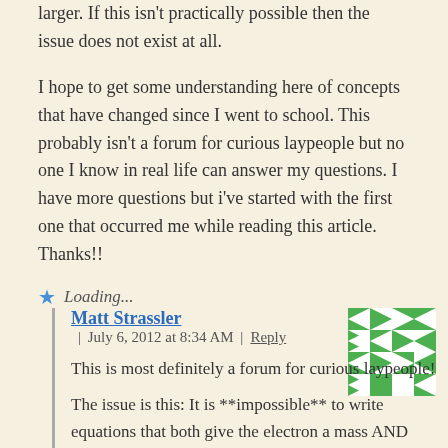larger. If this isn't practically possible then the issue does not exist at all.
I hope to get some understanding here of concepts that have changed since I went to school. This probably isn't a forum for curious laypeople but no one I know in real life can answer my questions. I have more questions but i've started with the first one that occurred me while reading this article. Thanks!!
Loading...
Matt Strassler | July 6, 2012 at 8:34 AM | Reply
This is most definitely a forum for curious laypeople!
The issue is this: It is **impossible** to write equations that both give the electron a mass AND allow it to behave as it does when affected by the weak nuclear force… unless there is a Higgs field, or something like it, added to the equations.
[Figure (illustration): Green and white pixel art avatar icon with triangular/arrow pattern]